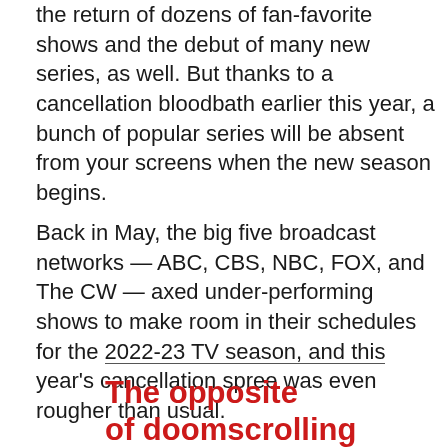the return of dozens of fan-favorite shows and the debut of many new series, as well. But thanks to a cancellation bloodbath earlier this year, a bunch of popular series will be absent from your screens when the new season begins.
Back in May, the big five broadcast networks — ABC, CBS, NBC, FOX, and The CW — axed under-performing shows to make room in their schedules for the 2022-23 TV season, and this year's cancellation spree was even rougher than usual.
The opposite of doomscrolling